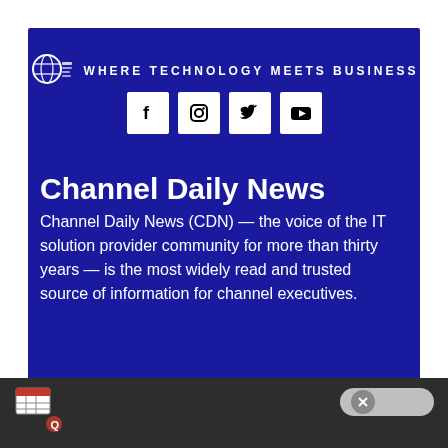WHERE TECHNOLOGY MEETS BUSINESS
[Figure (logo): Channel Daily News globe logo with text]
[Figure (infographic): Social media icons: Facebook, Instagram, Twitter, YouTube in white boxes on blue background]
Channel Daily News
Channel Daily News (CDN) — the voice of the IT solution provider community for more than thirty years — is the most widely read and trusted source of information for channel executives.
[Figure (screenshot): Small icon of a grid/table UI at the bottom footer bar]
[Figure (other): Close button (X) pill shape at bottom right]